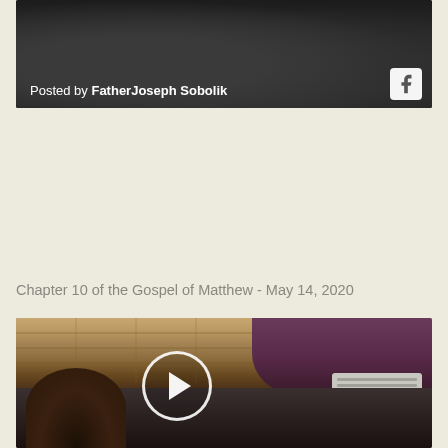[Figure (photo): Dark image (appears to show hands/person in dim lighting) with 'Posted by FatherJoseph Sobolik' text overlay and Facebook icon in bottom right]
Chapter 10 of the Gospel of Matthew - May 14, 2020
[Figure (screenshot): Video thumbnail showing interior of a vehicle or room with wooden ceiling panels, a purple/dark area top right, an AC unit, and a person's head in the foreground. A play button overlay is centered on the image.]